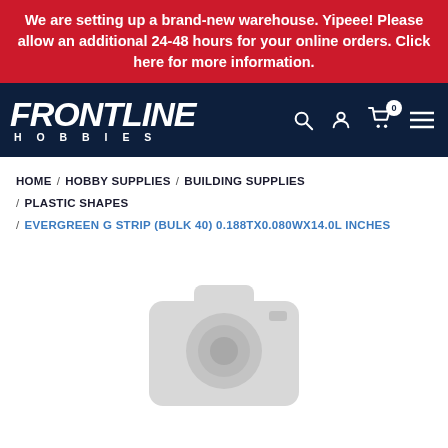We are setting up a brand-new warehouse. Yipeee! Please allow an additional 24-48 hours for your online orders. Click here for more information.
[Figure (logo): Frontline Hobbies logo in white italic text on dark navy background with navigation icons (search, account, cart with 0 badge, hamburger menu)]
HOME / HOBBY SUPPLIES / BUILDING SUPPLIES / PLASTIC SHAPES / EVERGREEN G STRIP (BULK 40) 0.188TX0.080WX14.0L INCHES
[Figure (photo): Grey placeholder camera icon indicating no product image available]